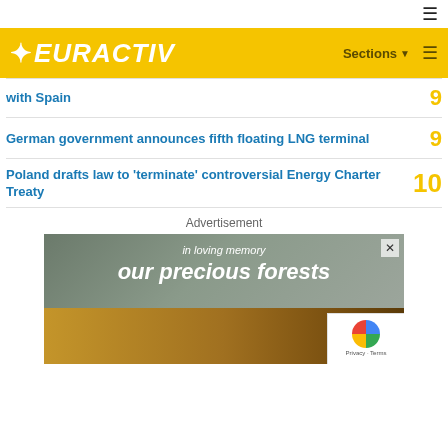EURACTIV — Sections
with Spain  9
German government announces fifth floating LNG terminal  9
Poland drafts law to 'terminate' controversial Energy Charter Treaty  10
Advertisement
[Figure (photo): Advertisement banner: 'in loving memory our precious forests' with image of wood pellets and a coffin]